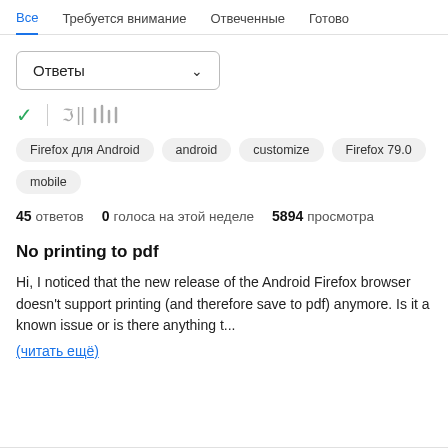Все  Требуется внимание  Отвеченные  Готово
[Figure (other): Dropdown selector labeled 'Ответы' with a chevron/arrow icon]
[Figure (other): Row of icons: green checkmark, vertical divider, and a bars/stack icon]
Firefox для Android  android  customize  Firefox 79.0  mobile
45 ответов  0  голоса на этой неделе  5894  просмотра
No printing to pdf
Hi, I noticed that the new release of the Android Firefox browser doesn't support printing (and therefore save to pdf) anymore. Is it a known issue or is there anything t...
(читать ещё)